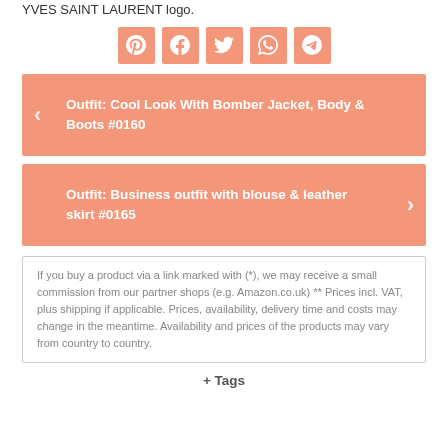YVES SAINT LAURENT logo.
[Figure (infographic): Row of 5 salmon/coral colored social media share buttons: Pinterest, Facebook, Twitter, WhatsApp, Telegram]
Outfit: Cool Look With Bomber Jacket, Body & Boots #0160
Outfit: Business outfit with blouse & leather skirt #0165
If you buy a product via a link marked with (*), we may receive a small commission from our partner shops (e.g. Amazon.co.uk) ** Prices incl. VAT, plus shipping if applicable. Prices, availability, delivery time and costs may change in the meantime. Availability and prices of the products may vary from country to country.
+ Tags